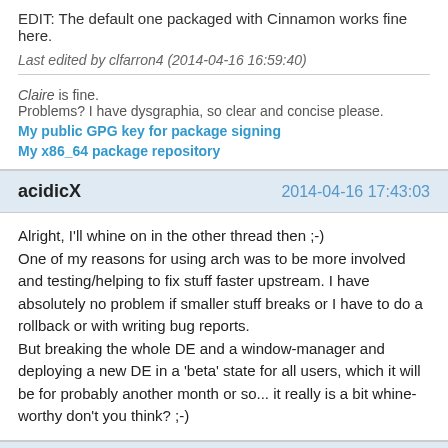EDIT: The default one packaged with Cinnamon works fine here.
Last edited by clfarron4 (2014-04-16 16:59:40)
Claire is fine.
Problems? I have dysgraphia, so clear and concise please.
My public GPG key for package signing
My x86_64 package repository
acidicX   2014-04-16 17:43:03
Alright, I'll whine on in the other thread then ;-)
One of my reasons for using arch was to be more involved and testing/helping to fix stuff faster upstream. I have absolutely no problem if smaller stuff breaks or I have to do a rollback or with writing bug reports.
But breaking the whole DE and a window-manager and deploying a new DE in a 'beta' state for all users, which it will be for probably another month or so... it really is a bit whine-worthy don't you think? ;-)
seiichiro0185   2014-04-16 19:30:07
Ok, in case anyone had the same problem like me with the invisible windows during an update...